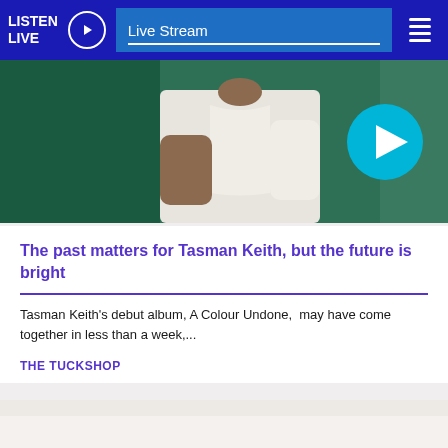LISTEN LIVE | Live Stream
[Figure (photo): A person in a white t-shirt photographed from the torso, with a teal/green background. A cyan play button is overlaid in the top-right area.]
The past matters for Tasman Keith, but the future is bright
Tasman Keith's debut album, A Colour Undone,  may have come together in less than a week,...
THE TUCKSHOP